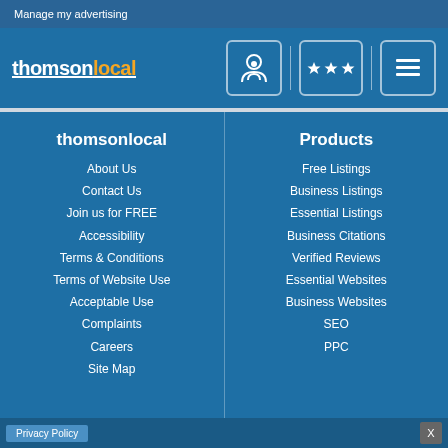Manage my advertising
[Figure (logo): thomsonlocal logo with orange 'local' text, navigation icons for account, reviews (stars), and menu]
thomsonlocal
About Us
Contact Us
Join us for FREE
Accessibility
Terms & Conditions
Terms of Website Use
Acceptable Use
Complaints
Careers
Site Map
Products
Free Listings
Business Listings
Essential Listings
Business Citations
Verified Reviews
Essential Websites
Business Websites
SEO
PPC
Privacy Policy